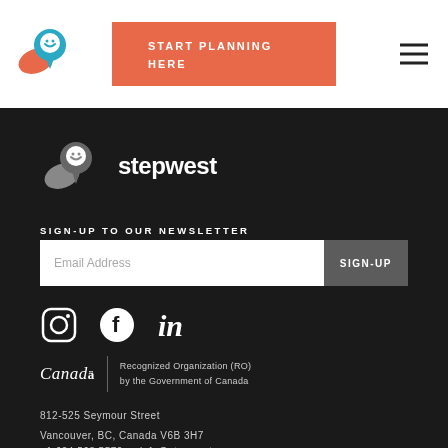START PLANNING HERE
[Figure (logo): Stepwest logo - colorful location pin icon with smiley face, orange and teal colors]
[Figure (logo): Stepwest footer logo - grey location pin with white smiley face, text 'stepwest' in white bold]
SIGN-UP TO OUR NEWSLETTER
Email Address | SIGN-UP button
[Figure (infographic): Social media icons: Instagram, Facebook, LinkedIn]
[Figure (logo): Canada wordmark with text: Recognized Organization (RO) by the Government of Canada]
812-525 Seymour Street
Vancouver, BC, Canada V6B 3H7
+1 604 568 5570  •  info@stepwest.com